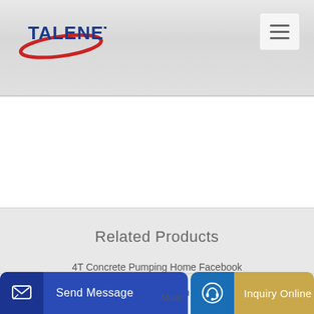[Figure (logo): TALENET logo with red ellipse and blue text]
[Figure (other): Hamburger menu button with three horizontal lines]
Related Products
4T Concrete Pumping Home Facebook
concrete pump made in Georgia
Mixer
Send Message
Inquiry Online